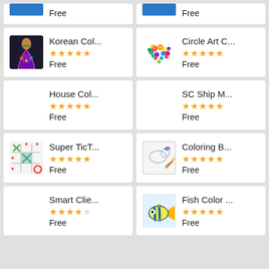[Figure (screenshot): App store listing grid showing 10 apps in 2 columns. Top row (partial): two apps with blue icon placeholders, both Free. Row 2: Korean Col... and Circle Art C..., both 5 stars, Free. Row 3: House Col... and SC Ship M..., both 5 stars, Free. Row 4: Super TicT... (tic-tac-toe icon) and Coloring B... (coloring book icon), both 5 stars, Free. Row 5: Smart Clie... and Fish Color... (fish icon), both 5 stars, Free.]